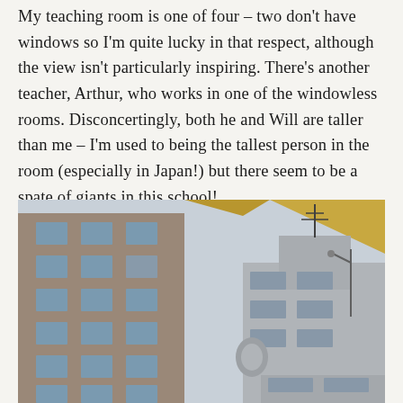My teaching room is one of four – two don't have windows so I'm quite lucky in that respect, although the view isn't particularly inspiring.  There's another teacher, Arthur, who works in one of the windowless rooms.  Disconcertingly, both he and Will are taller than me – I'm used to being the tallest person in the room (especially in Japan!) but there seem to be a spate of giants in this school!
[Figure (photo): Outdoor photograph looking up at urban buildings in Japan. On the left is a tall multi-story residential or office building with a grid of windows. On the right is a shorter modernist building with distinctive architectural features. The sky is pale blue-grey. The top of the image shows part of a yellow/tan awning or canopy cutting diagonally.]